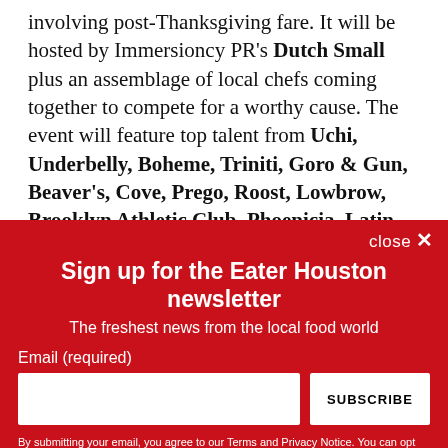involving post-Thanksgiving fare. It will be hosted by Immersioncy PR's Dutch Small plus an assemblage of local chefs coming together to compete for a worthy cause. The event will feature top talent from Uchi, Underbelly, Boheme, Triniti, Goro & Gun, Beaver's, Cove, Prego, Roost, Lowbrow, Brooklyn Athletic Club, Phoenicia, Latin Bites, Roost, Eatsie Boys, L'Olivier and other restaurants that are still signing up to participate. Small's last major event, the
Sign up for the Eater Houston newsletter
The freshest news from the local food world
Email (required)
By submitting your email, you agree to our Terms and Privacy Notice. You can opt out at any time. This site is protected by reCAPTCHA and the Google Privacy Policy and Terms of Service apply.